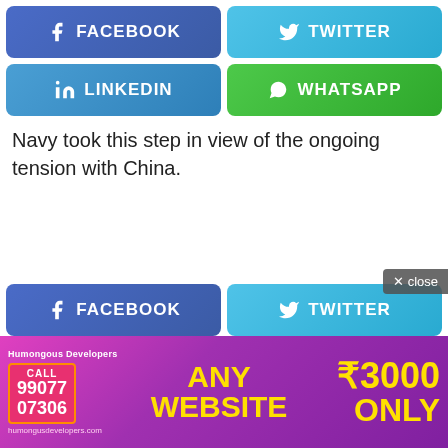[Figure (screenshot): Social share buttons row 1: Facebook (purple-blue) and Twitter (cyan)]
[Figure (screenshot): Social share buttons row 2: LinkedIn (blue) and WhatsApp (green)]
Navy took this step in view of the ongoing tension with China.
[Figure (screenshot): Bottom social share buttons: Facebook (purple-blue) and Twitter (cyan), with close button]
[Figure (infographic): Advertisement banner for Humongous Developers: ANY WEBSITE ₹3000 ONLY, CALL 99077 07306, humongusdevelopers.com]